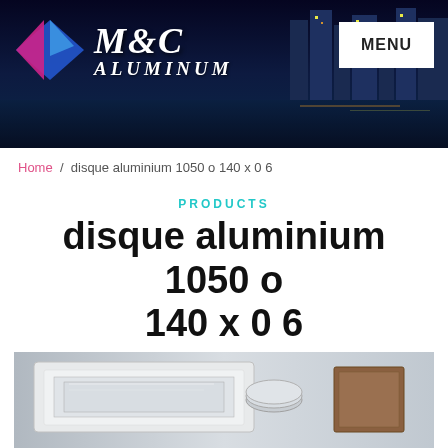[Figure (photo): M&C Aluminum website header banner with city skyline at night, diamond logo, M&C ALUMINUM text, and a MENU button]
Home / disque aluminium 1050 o 140 x 0 6
PRODUCTS
disque aluminium 1050 o 140 x 0 6
[Figure (photo): Product photo showing stacked aluminum discs or sheets wrapped in plastic packaging]